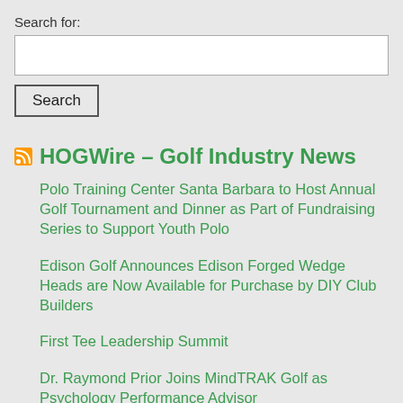Search for:
HOGWire – Golf Industry News
Polo Training Center Santa Barbara to Host Annual Golf Tournament and Dinner as Part of Fundraising Series to Support Youth Polo
Edison Golf Announces Edison Forged Wedge Heads are Now Available for Purchase by DIY Club Builders
First Tee Leadership Summit
Dr. Raymond Prior Joins MindTRAK Golf as Psychology Performance Advisor
FAISAL SALHAB CONTINUES TO IMPRESS ON THE